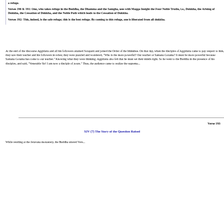a refuge.
Verses 190 & 191: One, who takes refuge in the Buddha, the Dhamma and the Samgha, sees with Magga Insight the Four Noble Truths, i.e., Dukkha, the Arising of Dukkha, the Cessation of Dukkha, and the Noble Path which leads to the Cessation of Dukkha.
Verses 192: This, indeed, is the safe refuge; this is the best refuge. By coming to this refuge, one is liberated from all dukkha.
At the end of the discourse Aggidatta and all his followers attained Sotapatti and joined the Order of the bhikkhus. On that day, when the disciples of Aggidatta came to pay respect to him, they saw their teacher and his followers in robes; they were puzzled and wondered, "Who is the more powerful? Our teacher or Samana Gotama? It must be more powerful because Samana Gotama has come to our teacher." Knowing what they were thinking; Aggidatta also felt that he must set their minds right. So he went to the Buddha in the presence of his disciples, and said, "Venerable Sir! I am now a disciple of yours." Thus, the audience came to realize the supremacy of the Buddha.
Verse 193
XIV (7) The Story of the Question Raised
While residing at the Jetavana monastery, the Buddha uttered Verse...